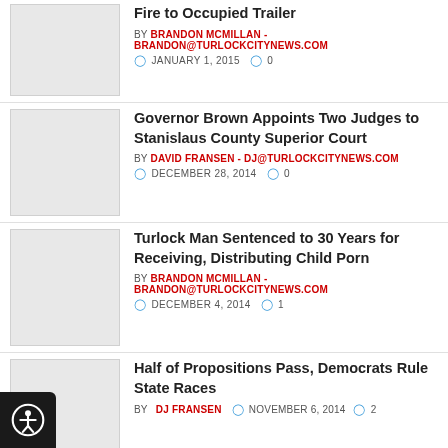Fire to Occupied Trailer
BY BRANDON MCMILLAN - BRANDON@TURLOCKCITYNEWS.COM
JANUARY 1, 2015  0
Governor Brown Appoints Two Judges to Stanislaus County Superior Court
BY DAVID FRANSEN - DJ@TURLOCKCITYNEWS.COM
DECEMBER 28, 2014  0
Turlock Man Sentenced to 30 Years for Receiving, Distributing Child Porn
BY BRANDON MCMILLAN - BRANDON@TURLOCKCITYNEWS.COM
DECEMBER 4, 2014  1
Half of Propositions Pass, Democrats Rule State Races
BY DJ FRANSEN  NOVEMBER 6, 2014  2
Four Arrested at Residence While Police